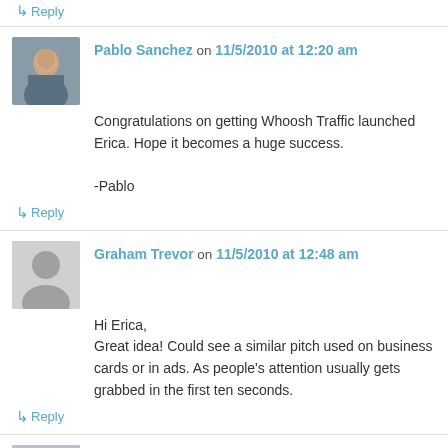↳ Reply
Pablo Sanchez on 11/5/2010 at 12:20 am
Congratulations on getting Whoosh Traffic launched Erica. Hope it becomes a huge success.

-Pablo
↳ Reply
Graham Trevor on 11/5/2010 at 12:48 am
Hi Erica,
Great idea! Could see a similar pitch used on business cards or in ads. As people's attention usually gets grabbed in the first ten seconds.
↳ Reply
Marcus Sheridan, The Sales Lion on 11/5/2010 at 7:20 am
Really appreciate you breaking down your 30 sec pitch here